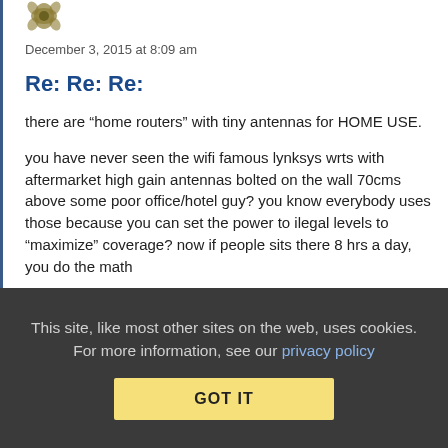[Figure (illustration): Olive/gold colored decorative avatar icon (stylized leaf/flower shape)]
December 3, 2015 at 8:09 am
Re: Re: Re:
there are “home routers” with tiny antennas for HOME USE.
you have never seen the wifi famous lynksys wrts with aftermarket high gain antennas bolted on the wall 70cms above some poor office/hotel guy? you know everybody uses those because you can set the power to ilegal levels to “maximize” coverage? now if people sits there 8 hrs a day, you do the math
I wonder what would you say if you see a high gain antenna bolted above your daughters desk at school?
This site, like most other sites on the web, uses cookies. For more information, see our privacy policy
GOT IT